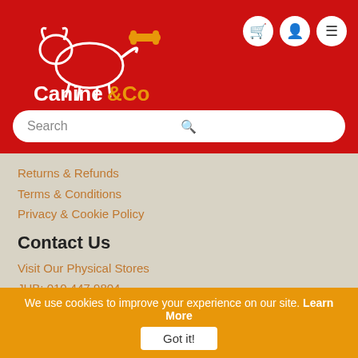[Figure (logo): Canine & Co logo with white dog outline and orange bone on red background]
Search
Returns & Refunds
Terms & Conditions
Privacy & Cookie Policy
Contact Us
Visit Our Physical Stores
JHB: 010 447 9804
CPT: 021 206 6269
We use cookies to improve your experience on our site. Learn More
Got it!